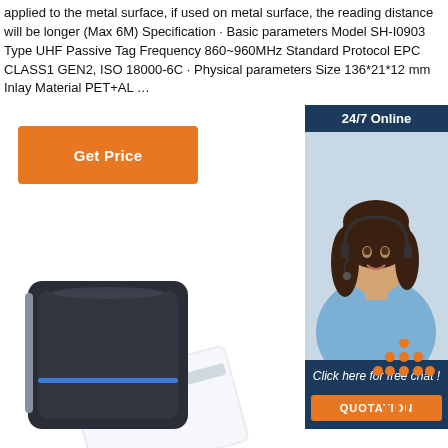applied to the metal surface, if used on metal surface, the reading distance will be longer (Max 6M) Specification · Basic parameters Model SH-I0903 Type UHF Passive Tag Frequency 860~960MHz Standard Protocol EPC CLASS1 GEN2, ISO 18000-6C · Physical parameters Size 136*21*12 mm Inlay Material PET+AL …
[Figure (other): Orange 'Get Price' button]
[Figure (other): 24/7 Online chat widget with woman wearing headset, 'Click here for free chat!' text, and orange QUOTATION button]
[Figure (photo): RFID card reader device - dark colored device with blue LED light and white access card]
[Figure (other): TOP button icon with orange dots arranged in triangle shape above orange TOP text]